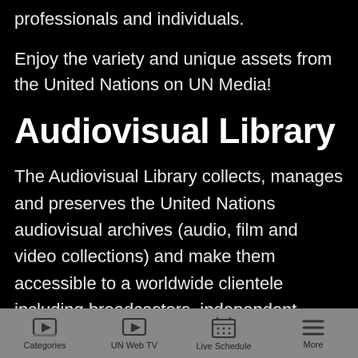professionals and individuals.
Enjoy the variety and unique assets from the United Nations on UN Media!
Audiovisual Library
The Audiovisual Library collects, manages and preserves the United Nations audiovisual archives (audio, film and video collections) and make them accessible to a worldwide clientele including broadcasters, independent producers, governments, educational and cultural institutions, non-
Categories | UN Web TV | Live Schedule | More